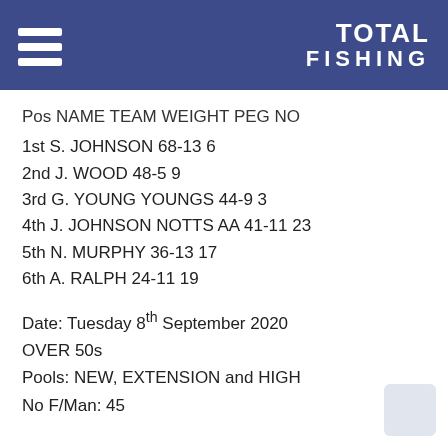TOTAL FISHING
Pos NAME TEAM WEIGHT PEG NO
1st S. JOHNSON 68-13 6
2nd J. WOOD 48-5 9
3rd G. YOUNG YOUNGS 44-9 3
4th J. JOHNSON NOTTS AA 41-11 23
5th N. MURPHY 36-13 17
6th A. RALPH 24-11 19
Date: Tuesday 8th September 2020
OVER 50s
Pools: NEW, EXTENSION and HIGH
No F/Man: 45